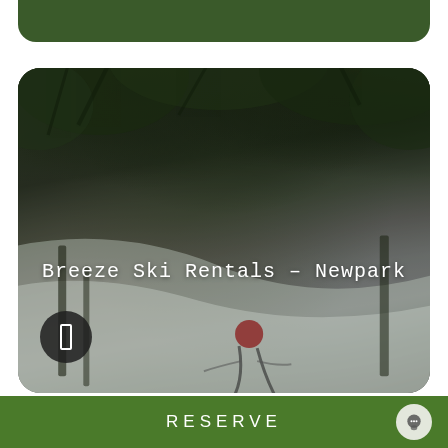[Figure (photo): Partially visible green card at the top of the screen, showing a ski resort or outdoor nature scene with green tones]
[Figure (photo): Ski resort photo card showing a blurred winter scene with snow, trees with snow-covered branches, and a skier in red gear on a slope. Dark overlay on photo. Title text 'Breeze Ski Rentals – Newpark' centered near the bottom. An info button (rectangle icon) in dark circle at bottom-left of card.]
Breeze Ski Rentals – Newpark
RESERVE